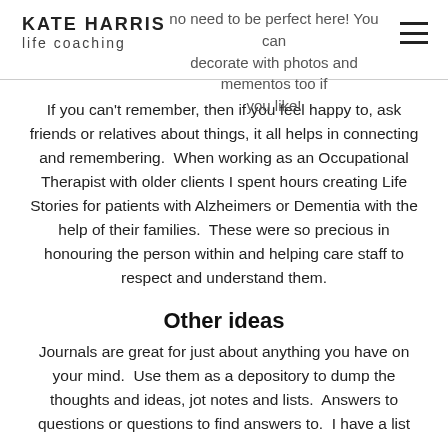KATE HARRIS life coaching
no need to be perfect here! You can decorate with photos and mementos too if you like!
If you can't remember, then if you feel happy to, ask friends or relatives about things, it all helps in connecting and remembering. When working as an Occupational Therapist with older clients I spent hours creating Life Stories for patients with Alzheimers or Dementia with the help of their families. These were so precious in honouring the person within and helping care staff to respect and understand them.
Other ideas
Journals are great for just about anything you have on your mind. Use them as a depository to dump the thoughts and ideas, jot notes and lists. Answers to questions or questions to find answers to. I have a list